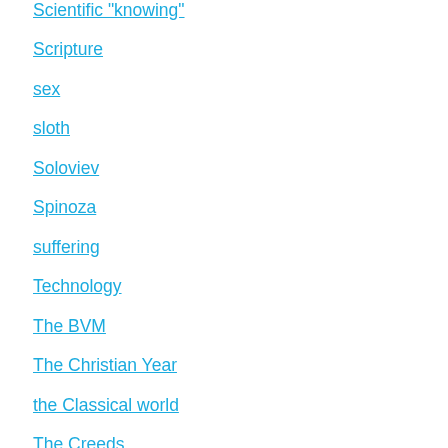Schleiermacher
Scientific "knowing"
Scripture
sex
sloth
Soloviev
Spinoza
suffering
Technology
The BVM
The Christian Year
the Classical world
The Creeds
The Early Church